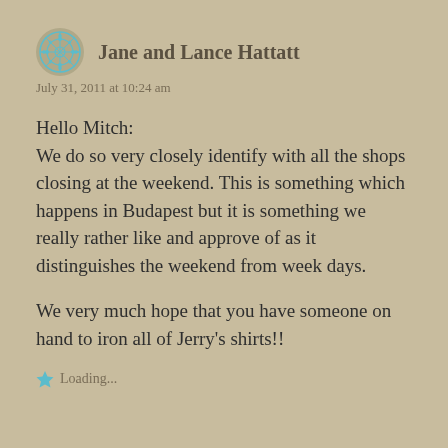Jane and Lance Hattatt
July 31, 2011 at 10:24 am
Hello Mitch:
We do so very closely identify with all the shops closing at the weekend. This is something which happens in Budapest but it is something we really rather like and approve of as it distinguishes the weekend from week days.
We very much hope that you have someone on hand to iron all of Jerry's shirts!!
Loading...